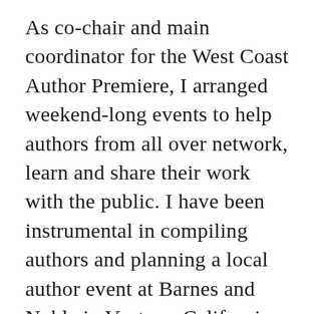As co-chair and main coordinator for the West Coast Author Premiere, I arranged weekend-long events to help authors from all over network, learn and share their work with the public. I have been instrumental in compiling authors and planning a local author event at Barnes and Noble in Ventura, California along with the store's event manager.